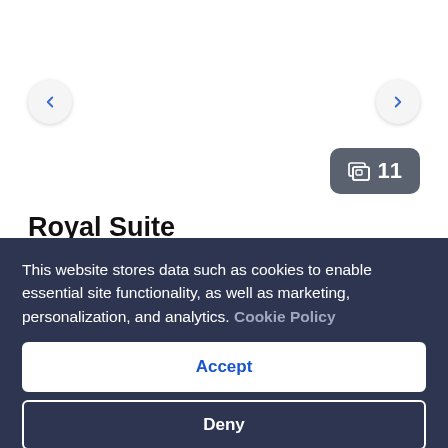[Figure (screenshot): Hotel room listing card showing navigation arrows (< >) and an image count badge showing 11 photos. Background is white.]
Royal Suite
5382 sq ft
Ocean view
This website stores data such as cookies to enable essential site functionality, as well as marketing, personalization, and analytics. Cookie Policy
Accept
Deny